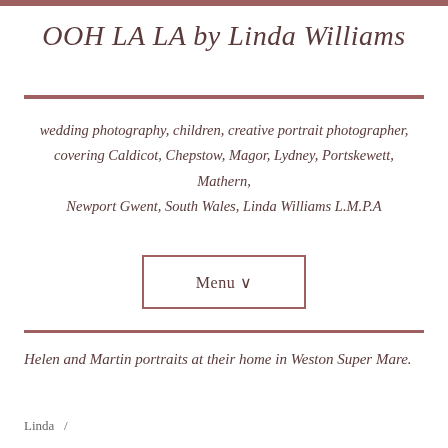OOH LA LA by Linda Williams
wedding photography, children, creative portrait photographer, covering Caldicot, Chepstow, Magor, Lydney, Portskewett, Mathern, Newport Gwent, South Wales, Linda Williams L.M.P.A
Menu ∨
Helen and Martin portraits at their home in Weston Super Mare.
Linda  /